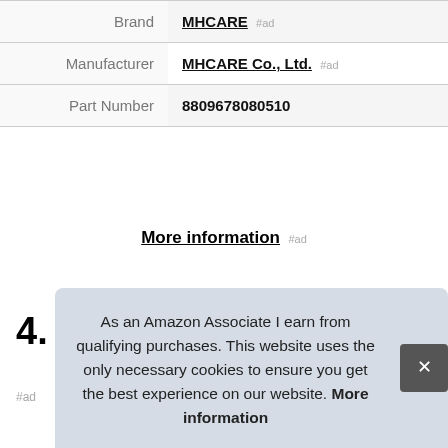|  |  |
| --- | --- |
| Brand | MHCARE #ad |
| Manufacturer | MHCARE Co., Ltd. #ad |
| Part Number | 8809678080510 |
More information #ad
4. FLEXMON
#ad
As an Amazon Associate I earn from qualifying purchases. This website uses the only necessary cookies to ensure you get the best experience on our website. More information